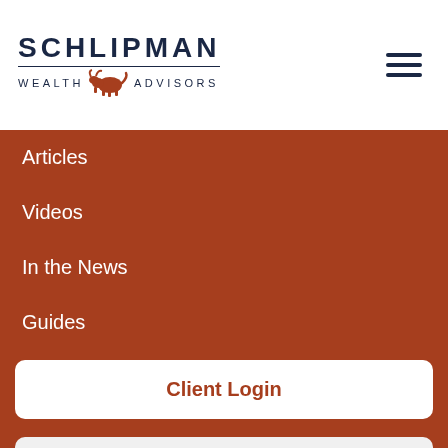[Figure (logo): Schlipman Wealth Advisors logo with bull icon]
Articles
Videos
In the News
Guides
Client Login
By continuing to use this site, you consent to our use of cookies.
ACCEPT